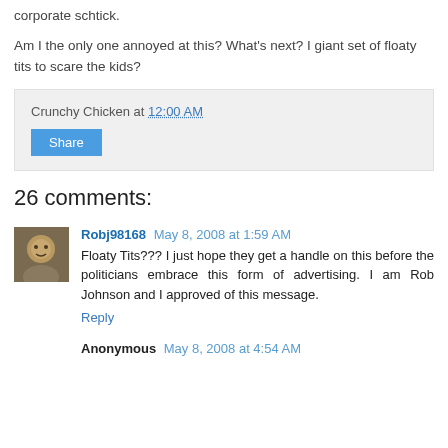corporate schtick.
Am I the only one annoyed at this? What's next? I giant set of floaty tits to scare the kids?
Crunchy Chicken at 12:00 AM
Share
26 comments:
Robj98168 May 8, 2008 at 1:59 AM
Floaty Tits??? I just hope they get a handle on this before the politicians embrace this form of advertising. I am Rob Johnson and I approved of this message.
Reply
Anonymous May 8, 2008 at 4:54 AM